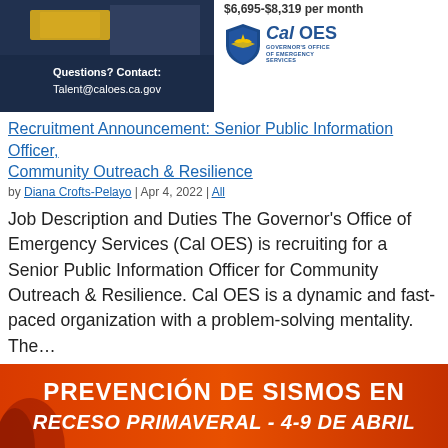[Figure (photo): Dark blue banner image with text 'Questions? Contact: Talent@caloes.ca.gov' overlaid on what appears to be emergency services imagery]
$6,695-$8,319 per month
[Figure (logo): Cal OES — Governor's Office of Emergency Services logo with shield icon]
Recruitment Announcement: Senior Public Information Officer, Community Outreach & Resilience
by Diana Crofts-Pelayo | Apr 4, 2022 | All
Job Description and Duties The Governor's Office of Emergency Services (Cal OES) is recruiting for a Senior Public Information Officer for Community Outreach & Resilience. Cal OES is a dynamic and fast-paced organization with a problem-solving mentality. The…
[Figure (infographic): Orange and red banner with bold white text reading 'PREVENCIÓN DE SISMOS EN' and italic white text 'RECESO PRIMAVERAL - 4-9 DE ABRIL']